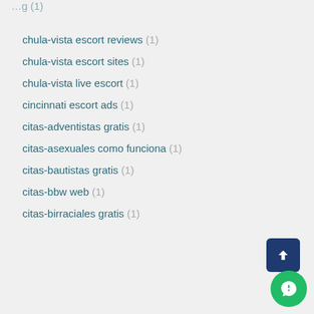chula-vista escort reviews (1)
chula-vista escort sites (1)
chula-vista live escort (1)
cincinnati escort ads (1)
citas-adventistas gratis (1)
citas-asexuales como funciona (1)
citas-bautistas gratis (1)
citas-bbw web (1)
citas-birraciales gratis (1)